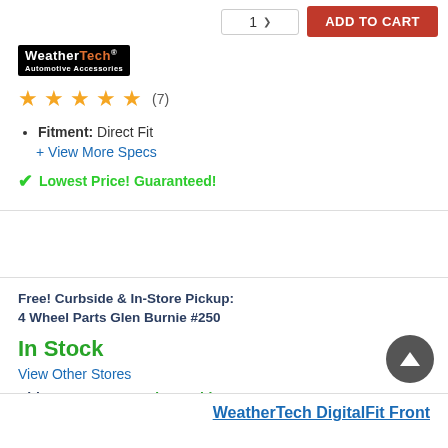[Figure (logo): WeatherTech Automotive Accessories brand logo — white text on black background with orange accent]
★★★★★ (7)
Fitment: Direct Fit
+ View More Specs
✔ Lowest Price! Guaranteed!
Free! Curbside & In-Store Pickup:
4 Wheel Parts Glen Burnie #250
In Stock
View Other Stores
Ship to Home:  Ready To Ship
WeatherTech DigitalFit Front